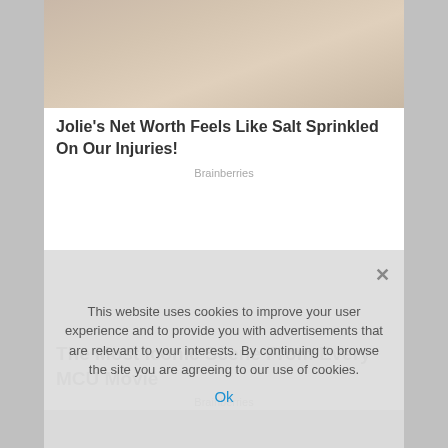[Figure (photo): Partial view of a woman with dark hair and red lips, cropped at the top of the page]
Jolie's Net Worth Feels Like Salt Sprinkled On Our Injuries!
Brainberries
The Most Iconic Scene From Every MCU Movie
Brainberries
[Figure (photo): Partial bottom photo, cropped]
This website uses cookies to improve your user experience and to provide you with advertisements that are relevant to your interests. By continuing to browse the site you are agreeing to our use of cookies.
Ok